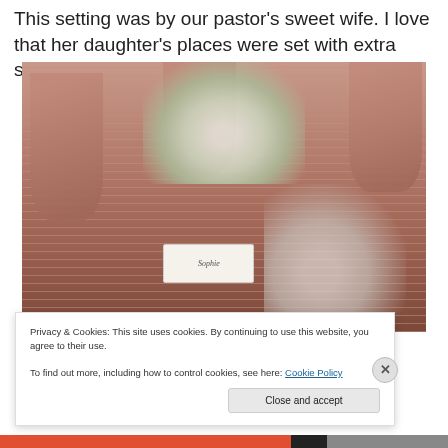This setting was by our pastor's sweet wife. I love that her daughter's places were set with extra special care.
[Figure (photo): A beautifully set round table with pink/mauve tablecloth, folded pink napkins, teacups and saucers, floral centerpiece with white flowers, crystal glasses, silverware, decorative place settings, and a name card reading 'Sophie' in the foreground.]
Privacy & Cookies: This site uses cookies. By continuing to use this website, you agree to their use.
To find out more, including how to control cookies, see here: Cookie Policy